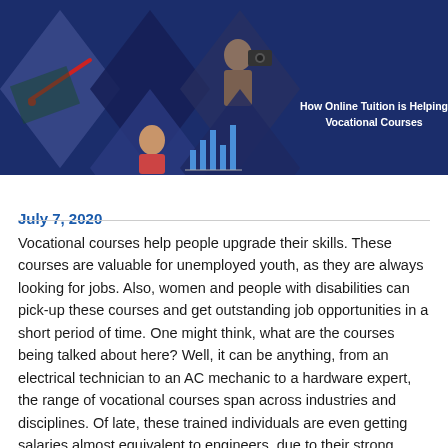[Figure (illustration): Banner image with dark blue background, diamond-shaped collage photos showing hands working on electronics, a man with a camera, a woman smiling, and a bar chart. White bold text reads 'How Online Tuition is Helping Vocational Courses'.]
July 7, 2020
Vocational courses help people upgrade their skills. These courses are valuable for unemployed youth, as they are always looking for jobs. Also, women and people with disabilities can pick-up these courses and get outstanding job opportunities in a short period of time. One might think, what are the courses being talked about here? Well, it can be anything, from an electrical technician to an AC mechanic to a hardware expert, the range of vocational courses span across industries and disciplines. Of late, these trained individuals are even getting salaries almost equivalent to engineers, due to their strong